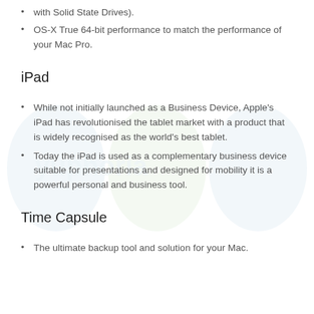with Solid State Drives).
OS-X True 64-bit performance to match the performance of your Mac Pro.
iPad
While not initially launched as a Business Device, Apple's iPad has revolutionised the tablet market with a product that is widely recognised as the world's best tablet.
Today the iPad is used as a complementary business device suitable for presentations and designed for mobility it is a powerful personal and business tool.
Time Capsule
The ultimate backup tool and solution for your Mac.